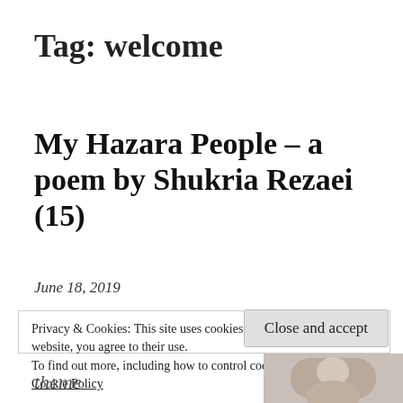Tag: welcome
My Hazara People – a poem by Shukria Rezaei (15)
June 18, 2019
Privacy & Cookies: This site uses cookies. By continuing to use this website, you agree to their use.
To find out more, including how to control cookies, see here:
Cookie Policy
Close and accept
theme